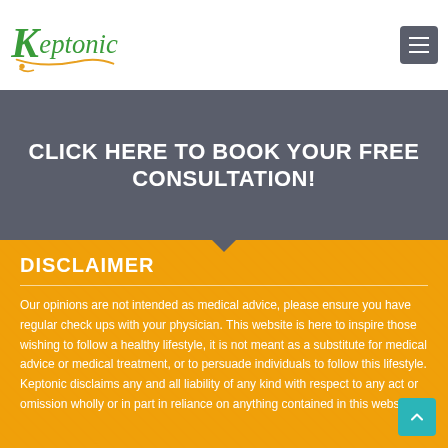[Figure (logo): Keptonic logo in green and orange cursive/handwritten style font]
CLICK HERE TO BOOK YOUR FREE CONSULTATION!
DISCLAIMER
Our opinions are not intended as medical advice, please ensure you have regular check ups with your physician. This website is here to inspire those wishing to follow a healthy lifestyle, it is not meant as a substitute for medical advice or medical treatment, or to persuade individuals to follow this lifestyle. Keptonic disclaims any and all liability of any kind with respect to any act or omission wholly or in part in reliance on anything contained in this website.